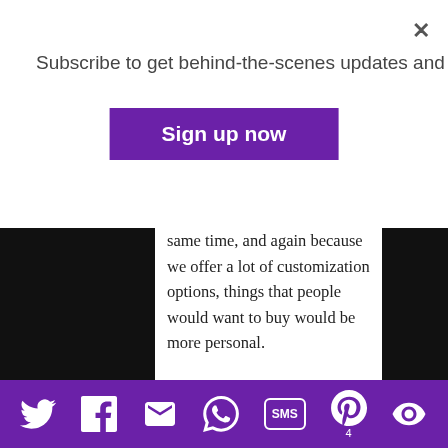Subscribe to get behind-the-scenes updates and more!
Sign up now
same time, and again because we offer a lot of customization options, things that people would want to buy would be more personal.
Had we been vendors at a craft or makers show, it would have been a completely different vibe AND we would have probably needed to bring more items (and show less wedding-themed things).
I had attended a wedding show at the
[Figure (infographic): Purple social sharing footer bar with icons: Twitter, Facebook, Email, WhatsApp, SMS (with label), Pinterest (with count 4), and a share/eye icon]